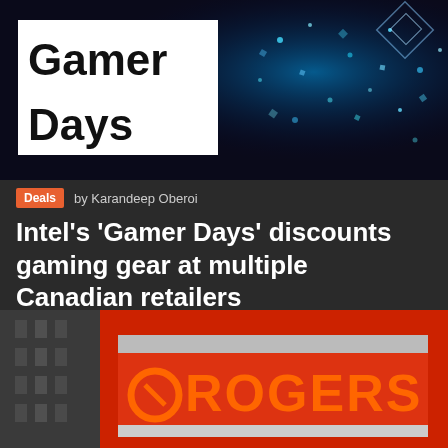[Figure (photo): Intel Gamer Days promotional banner with blue glowing particles and geometric light patterns on dark background. White text box showing 'Gamer Days' in bold black text on white background.]
Deals  by Karandeep Oberoi
Intel’s ‘Gamer Days’ discounts gaming gear at multiple Canadian retailers
[Figure (photo): Photo of a Rogers store sign with large orange ROGERS lettering on a red storefront background. A building is visible in the left background.]